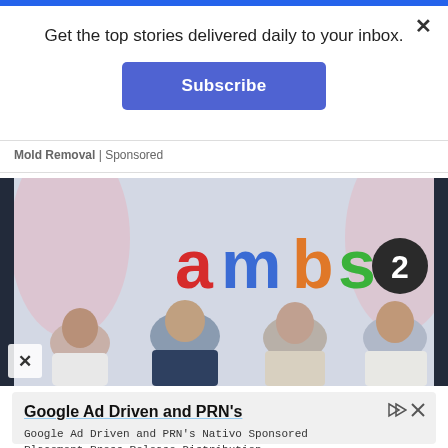Get the top stories delivered daily to your inbox.
Subscribe
Mold Removal | Sponsored
[Figure (photo): Four people posing in front of a banner displaying the 'ambs2' logo with colorful letters. A woman on the left in white jacket, a man in dark shirt, a woman in light outfit, and a man in white shirt on the right.]
Google Ad Driven and PRN's
Google Ad Driven and PRN's Nativo Sponsored Placement Press Release Distribution
iCrowdNewswire
Open